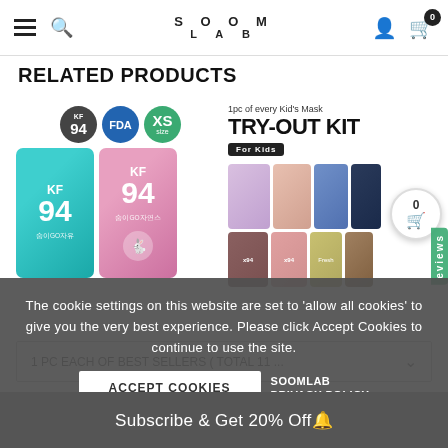SOOM LAB — navigation bar with hamburger, search, logo, user, cart (0)
RELATED PRODUCTS
[Figure (photo): KF94 mask product with KF94, FDA, XS badges and two mask packages (blue and pink)]
[Figure (photo): Try-Out Kit For Kids — 1pc of every Kid's Mask, showing multiple colorful mask packages]
The cookie settings on this website are set to 'allow all cookies' to give you the very best experience. Please click Accept Cookies to continue to use the site.
ACCEPT COOKIES
SOOMLAB PRIVACY POLICY
1 PC EACH OF BEST SELLERS ( TOTAL 11 ...
Subscribe & Get 20% Off🔔